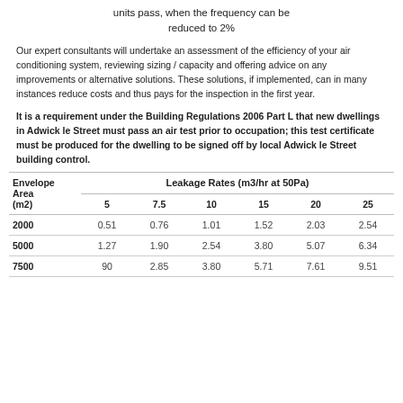units pass, when the frequency can be reduced to 2%
Our expert consultants will undertake an assessment of the efficiency of your air conditioning system, reviewing sizing / capacity and offering advice on any improvements or alternative solutions. These solutions, if implemented, can in many instances reduce costs and thus pays for the inspection in the first year.
It is a requirement under the Building Regulations 2006 Part L that new dwellings in Adwick le Street must pass an air test prior to occupation; this test certificate must be produced for the dwelling to be signed off by local Adwick le Street building control.
| Envelope Area (m2) | Leakage Rates (m3/hr at 50Pa) |  |  |  |  |  |
| --- | --- | --- | --- | --- | --- | --- |
|  | 5 | 7.5 | 10 | 15 | 20 | 25 |
| 2000 | 0.51 | 0.76 | 1.01 | 1.52 | 2.03 | 2.54 |
| 5000 | 1.27 | 1.90 | 2.54 | 3.80 | 5.07 | 6.34 |
| 7500 | 90 | 2.85 | 3.80 | 5.71 | 7.61 | 9.51 |